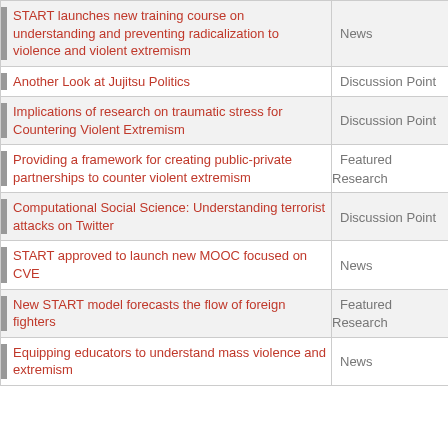| Title | Type |
| --- | --- |
| START launches new training course on understanding and preventing radicalization to violence and violent extremism | News |
| Another Look at Jujitsu Politics | Discussion Point |
| Implications of research on traumatic stress for Countering Violent Extremism | Discussion Point |
| Providing a framework for creating public-private partnerships to counter violent extremism | Featured Research |
| Computational Social Science: Understanding terrorist attacks on Twitter | Discussion Point |
| START approved to launch new MOOC focused on CVE | News |
| New START model forecasts the flow of foreign fighters | Featured Research |
| Equipping educators to understand mass violence and extremism | News |